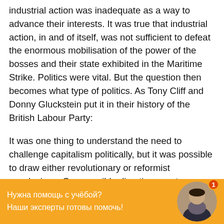industrial action was inadequate as a way to advance their interests. It was true that industrial action, in and of itself, was not sufficient to defeat the enormous mobilisation of the power of the bosses and their state exhibited in the Maritime Strike. Politics were vital. But the question then becomes what type of politics. As Tony Cliff and Donny Gluckstein put it in their history of the British Labour Party:
It was one thing to understand the need to challenge capitalism politically, but it was possible to draw either revolutionary or reformist conclusions. One possible direction was to use the fight for reforms, including placing demands on parliament, as a means of mobilising the working
[Figure (other): Orange chat/help banner at the bottom of the page with Russian text 'Нужна помощь с учёбой? Наши эксперты готовы помочь!' and a circular avatar photo of a woman with a notification badge showing '1'.]